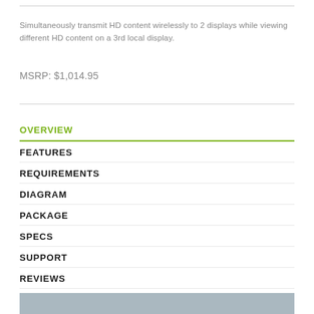Simultaneously transmit HD content wirelessly to 2 displays while viewing different HD content on a 3rd local display.
MSRP: $1,014.95
OVERVIEW
FEATURES
REQUIREMENTS
DIAGRAM
PACKAGE
SPECS
SUPPORT
REVIEWS
[Figure (photo): Partial product/scene photo visible at bottom of page]